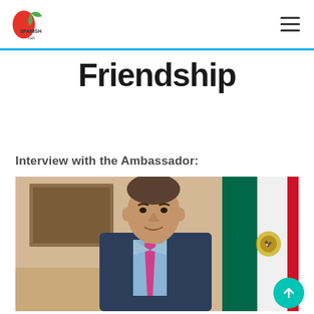Spanish — navigation header with logo and hamburger menu
Friendship
Interview with the Ambassador:
[Figure (photo): Portrait photo of an ambassador in a dark suit with a pink tie, seated in front of the Mexican flag and a painting on the wall in an office setting.]